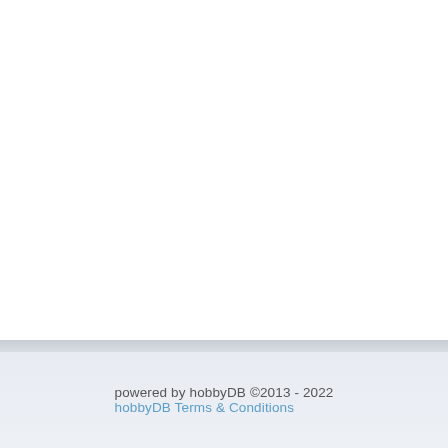powered by hobbyDB ©2013 - 2022
hobbyDB Terms & Conditions